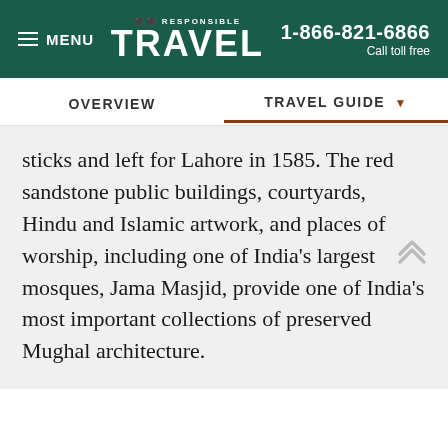MENU | RESPONSIBLE TRAVEL | 1-866-821-6866 Call toll free
OVERVIEW | TRAVEL GUIDE
sticks and left for Lahore in 1585. The red sandstone public buildings, courtyards, Hindu and Islamic artwork, and places of worship, including one of India's largest mosques, Jama Masjid, provide one of India's most important collections of preserved Mughal architecture.
RECENTLY VIEWED